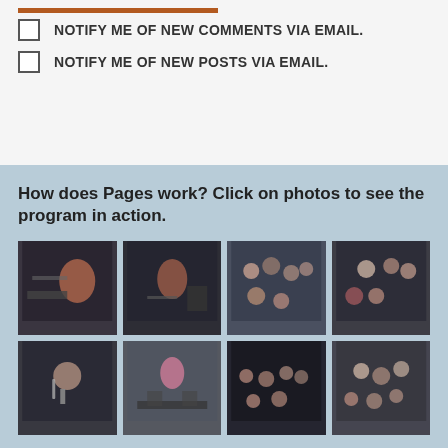NOTIFY ME OF NEW COMMENTS VIA EMAIL.
NOTIFY ME OF NEW POSTS VIA EMAIL.
How does Pages work? Click on photos to see the program in action.
[Figure (photo): Grid of 8 event photos showing performers at keyboards/microphones and audience members in a theater setting]
More Photos